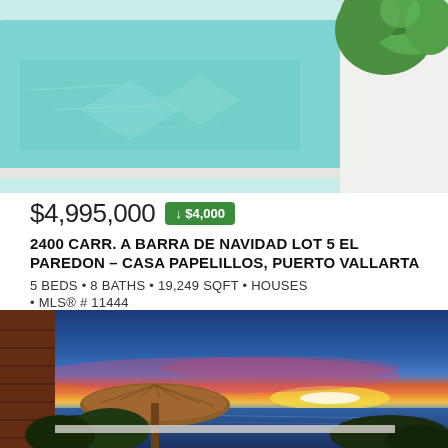[Figure (photo): Aerial/close-up view of a luxury infinity pool with turquoise water and tropical plants in white planters]
$4,995,000 ↓ $4,000
2400 CARR. A BARRA DE NAVIDAD LOT 5 EL PAREDON – CASA PAPELILLOS, PUERTO VALLARTA
5 BEDS • 8 BATHS • 19,249 SQFT • HOUSES
• MLS® # 11444
[Figure (photo): Sunset view from a luxury villa with a palapa-style thatched umbrella, tropical plants in the foreground, and a panoramic ocean view under a dramatic colorful sunset sky]